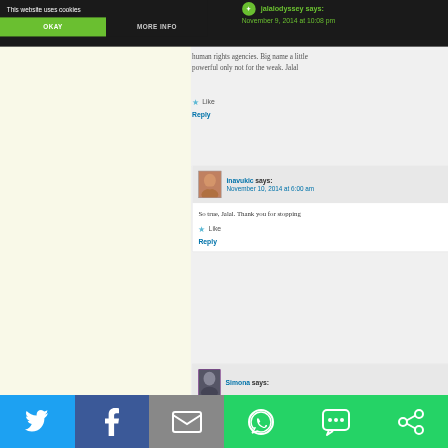This website uses cookies
OKAY
MORE INFO
human rights agencies. Big name a little powerful only not for the weak. Jalal
Like
Reply
inavukic says:
November 10, 2014 at 6:00 am
So true, Jalal. Thank you for stopping
Like
Reply
Simona says:
[Figure (screenshot): Social sharing bar with Twitter, Facebook, Email, WhatsApp, SMS, and other share buttons]